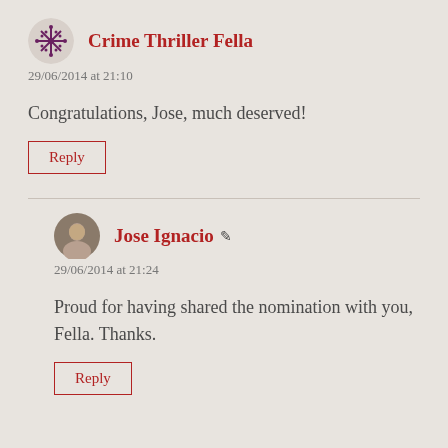Crime Thriller Fella
29/06/2014 at 21:10
Congratulations, Jose, much deserved!
Reply
Jose Ignacio
29/06/2014 at 21:24
Proud for having shared the nomination with you, Fella. Thanks.
Reply